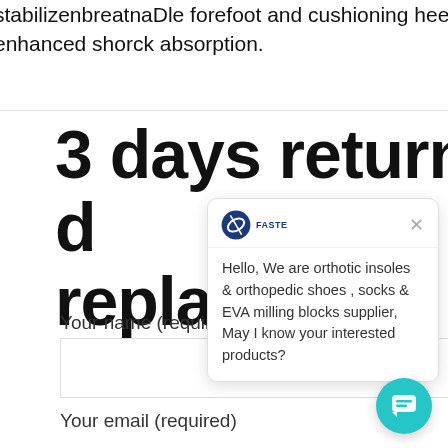stabilizenbreatnaDle forefoot and cushioning heel pad for enhanced shorck absorption.
3 days return 30 days replacement
Your name (required)
Your email (required)
[Figure (infographic): Chat popup window with FASTE logo, close X button, and message: Hello, We are orthotic insoles & orthopedic shoes , socks & EVA milling blocks supplier, May I know your interested products?]
[Figure (infographic): Teal circular chat button in bottom right corner with chat bubble icon]